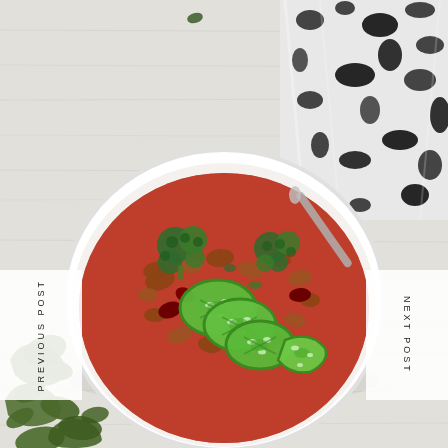[Figure (photo): Overhead view of a white bowl filled with chili topped with sliced green jalapeños and broccoli, with kale chips scattered on a white wood surface, and a black and white patterned cloth in the upper right corner.]
PREVIOUS POST
NEXT POST